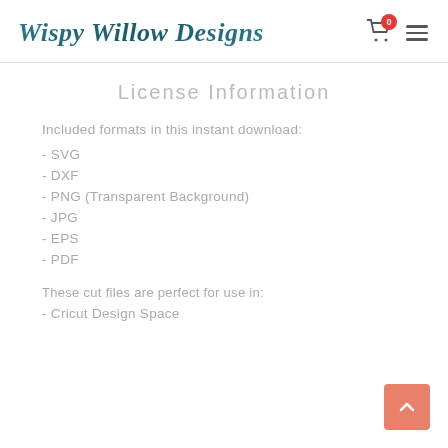Wispy Willow Designs
License Information
Included formats in this instant download:
- SVG
- DXF
- PNG (Transparent Background)
- JPG
- EPS
- PDF
These cut files are perfect for use in:
- Cricut Design Space